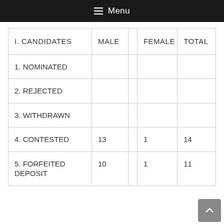☰ Menu
| I. CANDIDATES | MALE |  | FEMALE | TOTAL |
| --- | --- | --- | --- | --- |
| 1. NOMINATED |  |  |  |  |
| 2. REJECTED |  |  |  |  |
| 3. WITHDRAWN |  |  |  |  |
| 4. CONTESTED | 13 |  | 1 | 14 |
| 5. FORFEITED DEPOSIT | 10 |  | 1 | 11 |